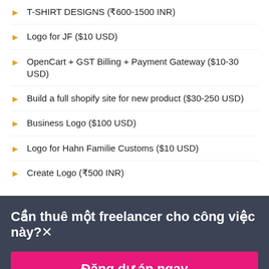T-SHIRT DESIGNS (₹600-1500 INR)
Logo for JF ($10 USD)
OpenCart + GST Billing + Payment Gateway ($10-30 USD)
Build a full shopify site for new product ($30-250 USD)
Business Logo ($100 USD)
Logo for Hahn Familie Customs ($10 USD)
Create Logo (₹500 INR)
Cần thuê một freelancer cho công việc này?×
Đăng dự án ngay